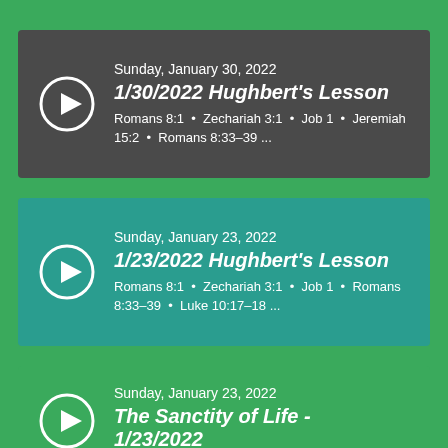Sunday, January 30, 2022 | 1/30/2022 Hughbert's Lesson | Romans 8:1 • Zechariah 3:1 • Job 1 • Jeremiah 15:2 • Romans 8:33–39 ...
Sunday, January 23, 2022 | 1/23/2022 Hughbert's Lesson | Romans 8:1 • Zechariah 3:1 • Job 1 • Romans 8:33–39 • Luke 10:17–18 ...
Sunday, January 23, 2022 | The Sanctity of Life - 1/23/2022